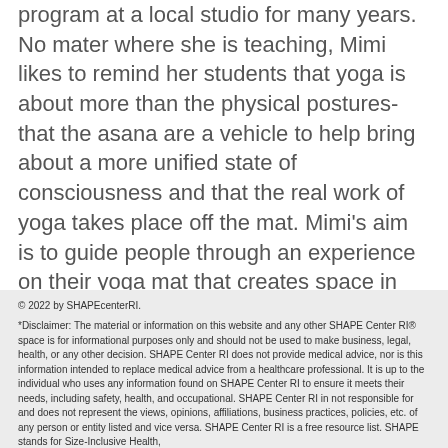program at a local studio for many years. No mater where she is teaching, Mimi likes to remind her students that yoga is about more than the physical postures- that the asana are a vehicle to help bring about a more unified state of consciousness and that the real work of yoga takes place off the mat. Mimi's aim is to guide people through an experience on their yoga mat that creates space in her students' lives to connect in deeper and more meaningful ways with themselves, their community, and the world around them.
© 2022 by SHAPEcenterRI.
*Disclaimer: The material or information on this website and any other SHAPE Center RI® space is for informational purposes only and should not be used to make business, legal, health, or any other decision. SHAPE Center RI does not provide medical advice, nor is this information intended to replace medical advice from a healthcare professional. It is up to the individual who uses any information found on SHAPE Center RI to ensure it meets their needs, including safety, health, and occupational. SHAPE Center RI in not responsible for and does not represent the views, opinions, affiliations, business practices, policies, etc. of any person or entity listed and vice versa. SHAPE Center RI is a free resource list. SHAPE stands for Size-Inclusive Health,